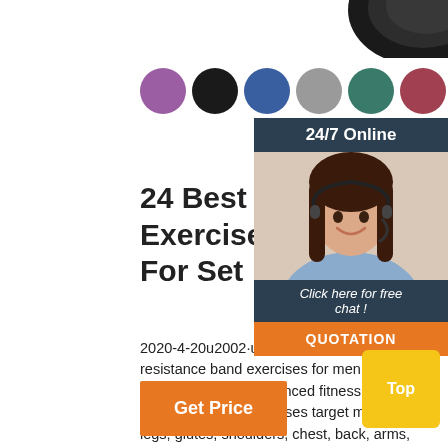[Figure (illustration): Dark object (rubber band spool) partially visible at top right corner]
[Figure (illustration): Row of 9 colored circles: purple, black, blue, gray, teal, dark red, pink/magenta, light teal, orange]
[Figure (illustration): Customer service chat widget with '24/7 Online' header, photo of woman with headset, 'Click here for free chat!' text, and orange QUOTATION button]
24 Best Resistance Band Exercises Targeting ... - S For Set
2020-4-20u2002·u2002Here are 24 of the resistance band exercises for men and women, and beginners to advanced fitness level. These resistance band exercises target muscle groups legs, glutes, shoulders, chest, back, arms, and abs/core. We also added a few total body resistance band exercises for those who prefer full-body workouts.
[Figure (illustration): Orange 'Get Price' button]
[Figure (illustration): Yellow 'Top' button at bottom right]